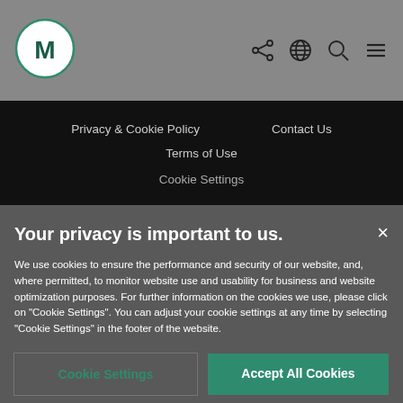[Figure (logo): Circular logo with letter M in dark teal/green on white background]
[Figure (infographic): Navigation icons: share, globe, search, and hamburger menu]
Privacy & Cookie Policy    Contact Us
Terms of Use
Cookie Settings
Your privacy is important to us.
We use cookies to ensure the performance and security of our website, and, where permitted, to monitor website use and usability for business and website optimization purposes. For further information on the cookies we use, please click on "Cookie Settings". You can adjust your cookie settings at any time by selecting "Cookie Settings" in the footer of the website.
Cookie Settings
Accept All Cookies